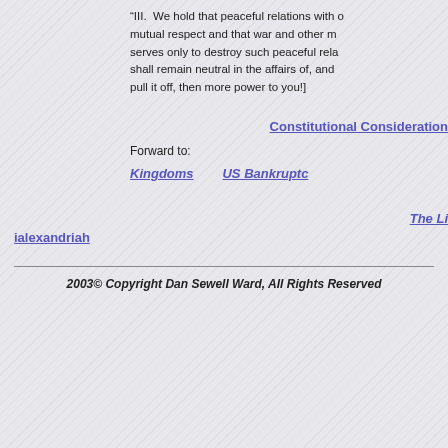“III.  We hold that peaceful relations with other nations are based on mutual respect and that war and other military interference serves only to destroy such peaceful relations... shall remain neutral in the affairs of, and ... pull it off, then more power to you!]
Constitutional Considerations
Forward to:
Kingdoms    US Bankruptcy
The Lib   ialexandriah
2003© Copyright Dan Sewell Ward, All Rights Reserved